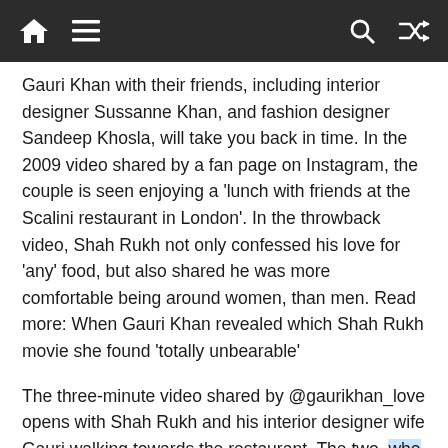[Navigation bar with home, menu, search, and shuffle icons]
Gauri Khan with their friends, including interior designer Sussanne Khan, and fashion designer Sandeep Khosla, will take you back in time. In the 2009 video shared by a fan page on Instagram, the couple is seen enjoying a ‘lunch with friends at the Scalini restaurant in London’. In the throwback video, Shah Rukh not only confessed his love for ‘any’ food, but also shared he was more comfortable being around women, than men. Read more: When Gauri Khan revealed which Shah Rukh movie she found ‘totally unbearable’
The three-minute video shared by @gaurikhan_love opens with Shah Rukh and his interior designer wife Gauri walking towards the restaurant. The two, who were in their early 40s at the time, were dressed